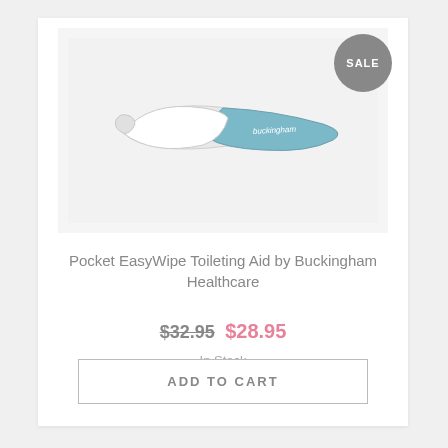[Figure (photo): Product photo of a Pocket EasyWipe Toileting Aid — a curved handle tool with blue/teal grip and white mechanism, branded 'buckingham', on a light gray background. A gray circular 'SALE' badge appears in the top right corner.]
Pocket EasyWipe Toileting Aid by Buckingham Healthcare
$32.95 $28.95
In Stock
ADD TO CART